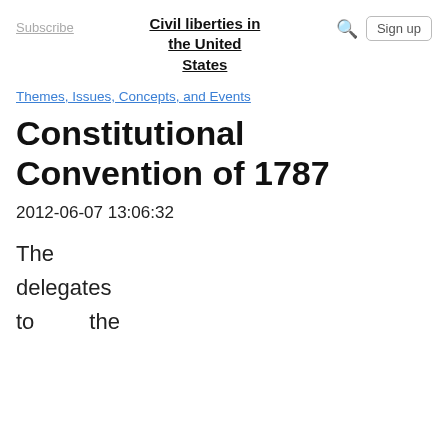Civil liberties in the United States
Subscribe
Sign up
Themes, Issues, Concepts, and Events
Constitutional Convention of 1787
2012-06-07 13:06:32
The delegates to the